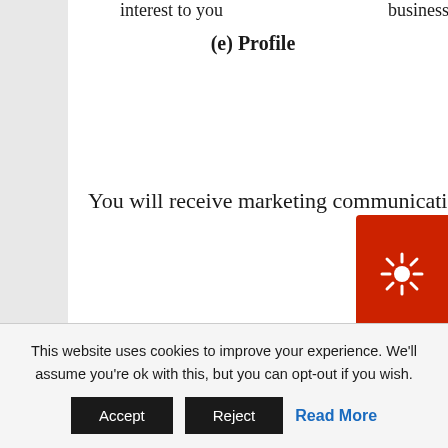interest to you
business
(e) Profile
You will receive marketing communications from us if you have:
requested information from us or purchased goods or services from us; or
if you provided us with your details and ticked the box at the point of entry of your
This website uses cookies to improve your experience. We'll assume you're ok with this, but you can opt-out if you wish.